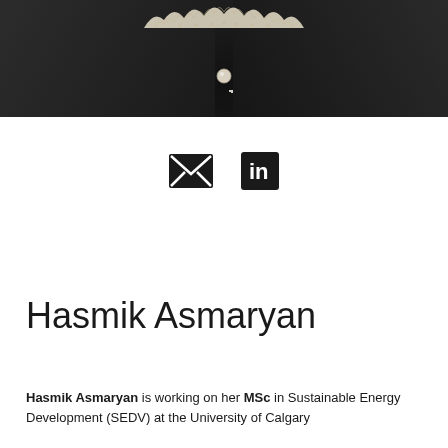[Figure (photo): Cropped photo of Hasmik Asmaryan wearing a black velvet outfit with a lace collar, pearl button visible at center]
[Figure (infographic): Email icon (envelope) and LinkedIn icon side by side as contact links]
Hasmik Asmaryan
Hasmik Asmaryan is working on her MSc in Sustainable Energy Development (SEDV) at the University of Calgary